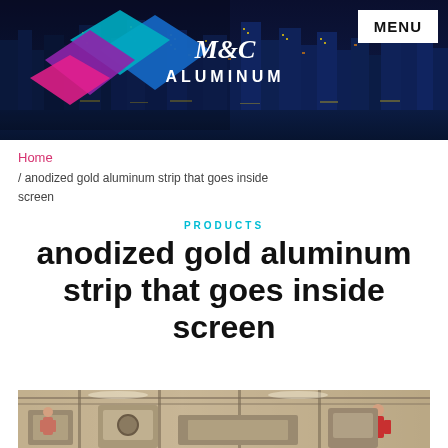[Figure (photo): M&C Aluminum company logo with diamond shapes in blue, teal, purple over a city skyline at night banner with MENU button]
Home / anodized gold aluminum strip that goes inside screen
PRODUCTS
anodized gold aluminum strip that goes inside screen
[Figure (photo): Industrial manufacturing facility interior with workers and equipment]